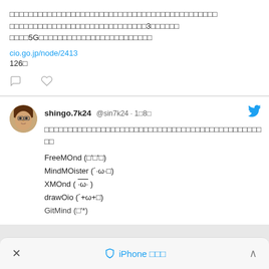2019年度のデジタル・ガバメント推進方針について（IoT・AI・ビッグデータの活用、3Dプリンタの活用、5G通信等の最先端技術を行政に活用）
cio.go.jp/node/2413
126件
shingo.7k24 @sin7k24 · 1月8日
マインドマップツールを無料で使えるものをまとめてみました
FreeMOnd (□'□'□)
MindMOister (´·ω·□)
XMOnd ( ¯·ω·¯ )
drawOio (´+ω+□)
GitMind (□'*)
× iPhone で見る ^